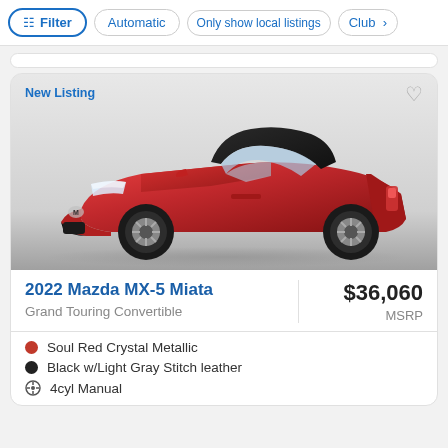Filter | Automatic | Only show local listings | Club >
[Figure (photo): Red 2022 Mazda MX-5 Miata Grand Touring Convertible with hardtop, shown in 3/4 front view on white/grey gradient background. 'New Listing' label in blue top-left, heart icon top-right.]
2022 Mazda MX-5 Miata
Grand Touring Convertible
$36,060
MSRP
Soul Red Crystal Metallic
Black w/Light Gray Stitch leather
4cyl Manual